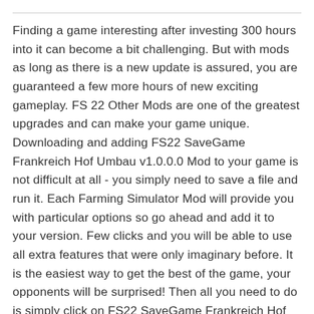Finding a game interesting after investing 300 hours into it can become a bit challenging. But with mods as long as there is a new update is assured, you are guaranteed a few more hours of new exciting gameplay. FS 22 Other Mods are one of the greatest upgrades and can make your game unique. Downloading and adding FS22 SaveGame Frankreich Hof Umbau v1.0.0.0 Mod to your game is not difficult at all - you simply need to save a file and run it. Each Farming Simulator Mod will provide you with particular options so go ahead and add it to your version. Few clicks and you will be able to use all extra features that were only imaginary before. It is the easiest way to get the best of the game, your opponents will be surprised! Then all you need to do is simply click on FS22 SaveGame Frankreich Hof Umbau v1.0.0.0 Mod free download button and implement it to your game. This few simple steps will lift your game to the upper level – what can be better that upgrading your game personally? Break all boundaries and develop your farm easily. All of this is just the tip of the